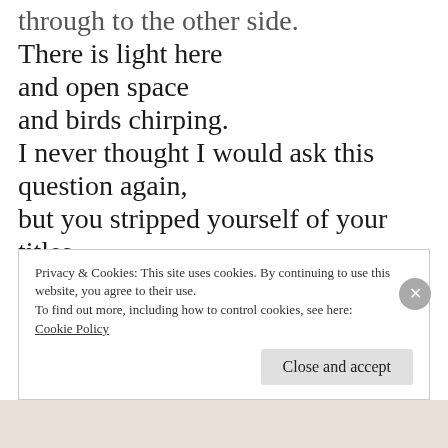through to the other side.
There is light here
and open space
and birds chirping.
I never thought I would ask this question again,
but you stripped yourself of your titles,
and I discarded all frameworks that shaped my thoughts,
you are but a concept
Privacy & Cookies: This site uses cookies. By continuing to use this website, you agree to their use.
To find out more, including how to control cookies, see here: Cookie Policy
Close and accept